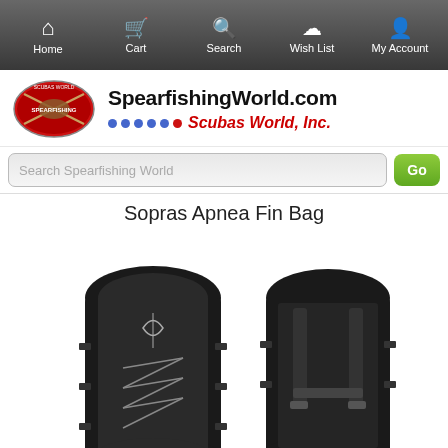Home | Cart | Search | Wish List | My Account
[Figure (logo): SpearfishingWorld.com / Scubas World, Inc. logo with circular fish emblem and brand name]
Search Spearfishing World
Sopras Apnea Fin Bag
[Figure (photo): Two views of the Sopras Apnea Fin Bag — front view showing black bag with lace bungee system and Sopras logo, and back view showing backpack straps and harness system]